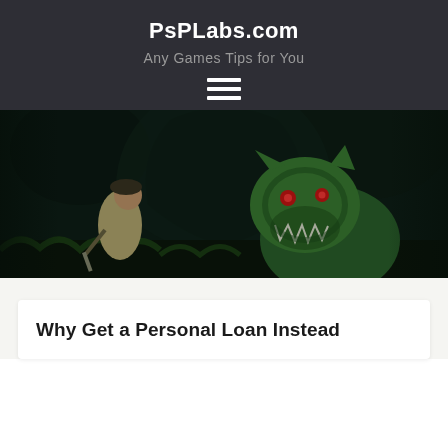PsPLabs.com
Any Games Tips for You
[Figure (screenshot): Dark fantasy video game screenshot showing a warrior character facing a large green demonic wolf-like creature in a gloomy forest setting]
Why Get a Personal Loan Instead